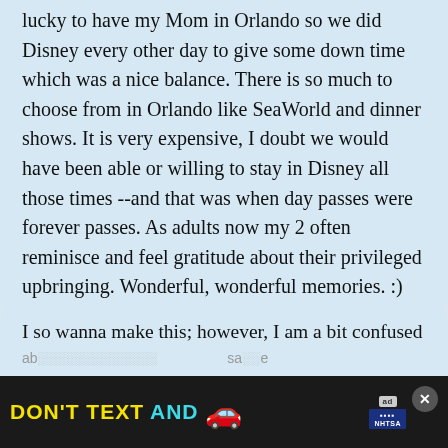lucky to have my Mom in Orlando so we did Disney every other day to give some down time which was a nice balance. There is so much to choose from in Orlando like SeaWorld and dinner shows. It is very expensive, I doubt we would have been able or willing to stay in Disney all those times --and that was when day passes were forever passes. As adults now my 2 often reminisce and feel gratitude about their privileged upbringing. Wonderful, wonderful memories. :)
BarbL
I so wanna make this; however, I am a bit confused
[Figure (infographic): Ad banner: DON'T TEXT AND [car emoji] with ad logo and NHTSA label, close button X]